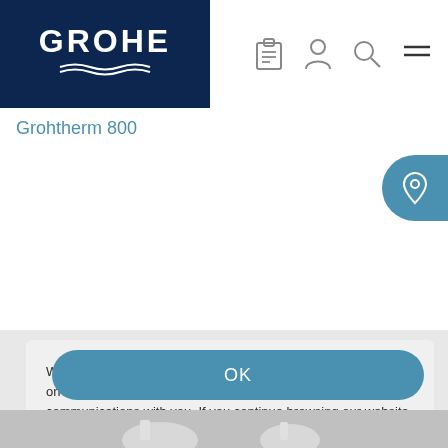GROHE
Grohtherm 800
We use cookies to ensure that we give you the best experience on our website and to improve the relevance of our communications with you. If you continue browsing our website, we'll assume that you accept the use of cookies on the GROHE website. You can find detailed information about how cookies are used on the following page: Privacy
OK